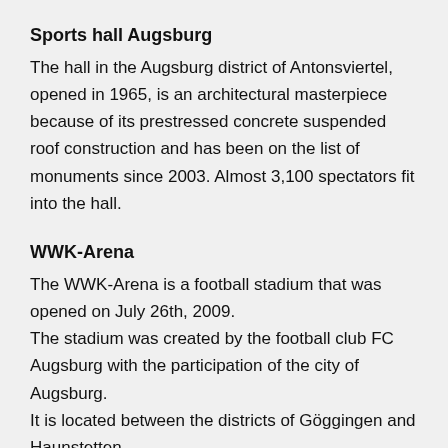Sports hall Augsburg
The hall in the Augsburg district of Antonsviertel, opened in 1965, is an architectural masterpiece because of its prestressed concrete suspended roof construction and has been on the list of monuments since 2003. Almost 3,100 spectators fit into the hall.
WWK-Arena
The WWK-Arena is a football stadium that was opened on July 26th, 2009.
The stadium was created by the football club FC Augsburg with the participation of the city of Augsburg.
It is located between the districts of Göggingen and Haunstetten.
FC Augsburg plays its home games in the stadium.